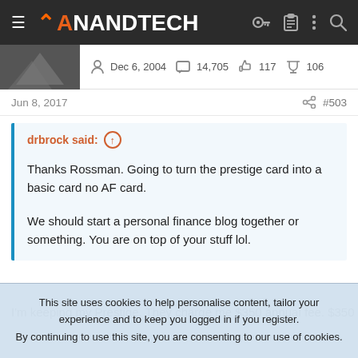AnandTech navigation bar
Dec 6, 2004   14,705   117   106
Jun 8, 2017   #503
drbrock said: ↑

Thanks Rossman. Going to turn the prestige card into a basic card no AF card.

We should start a personal finance blog together or something. You are on top of your stuff lol.
I'm keeping my Prestige. They charge me $350 annual fee. $350
This site uses cookies to help personalise content, tailor your experience and to keep you logged in if you register. By continuing to use this site, you are consenting to our use of cookies.